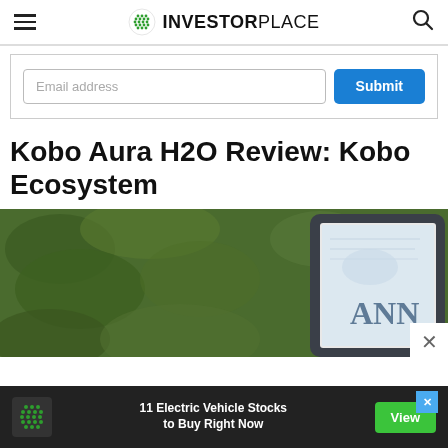INVESTORPLACE
[Figure (screenshot): Email address signup form with a text input field labeled 'Email address' and a blue 'Submit' button]
Kobo Aura H2O Review: Kobo Ecosystem
[Figure (photo): Photo of a Kobo e-reader device with a dark frame showing a book cover with 'ANN' text, placed against a green leafy background]
[Figure (infographic): Bottom ad banner with dark background showing InvestorPlace logo, text '11 Electric Vehicle Stocks to Buy Right Now', and a green 'View' button with a blue X close button]